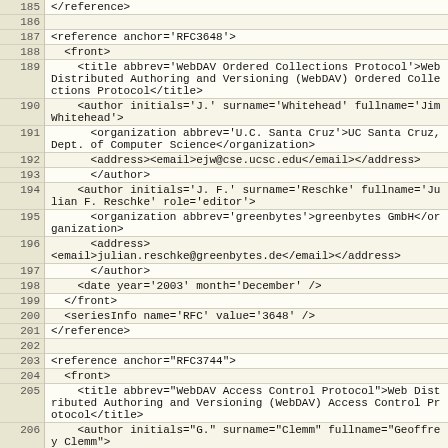Code listing lines 185-208, XML reference data
| line | code |
| --- | --- |
| 185 | </reference> |
| 186 |  |
| 187 | <reference anchor='RFC3648'> |
| 188 |   <front> |
| 189 |     <title abbrev='WebDAV Ordered Collections Protocol'>Web Distributed Authoring and Versioning (WebDAV) Ordered Collections Protocol</title> |
| 190 |     <author initials='J.' surname='Whitehead' fullname='Jim Whitehead'> |
| 191 |       <organization abbrev='U.C. Santa Cruz'>UC Santa Cruz, Dept. of Computer Science</organization> |
| 192 |       <address><email>ejw@cse.ucsc.edu</email></address> |
| 193 |       </author> |
| 194 |     <author initials='J. F.' surname='Reschke' fullname='Julian F. Reschke' role='editor'> |
| 195 |       <organization abbrev='greenbytes'>greenbytes GmbH</organization> |
| 196 |       <address>
<email>julian.reschke@greenbytes.de</email></address> |
| 197 |       </author> |
| 198 |     <date year='2003' month='December' /> |
| 199 |   </front> |
| 200 |   <seriesInfo name='RFC' value='3648' /> |
| 201 | </reference> |
| 202 |  |
| 203 | <reference anchor="RFC3744"> |
| 204 |   <front> |
| 205 |     <title abbrev="WebDAV Access Control Protocol">Web Distributed Authoring and Versioning (WebDAV) Access Control Protocol</title> |
| 206 |     <author initials="G." surname="Clemm" fullname="Geoffrey Clemm"> |
| 207 |       <organization>IBM</organization> |
| 208 |       <address><email>geoffrey.clemm@us.ibm.com</email> |